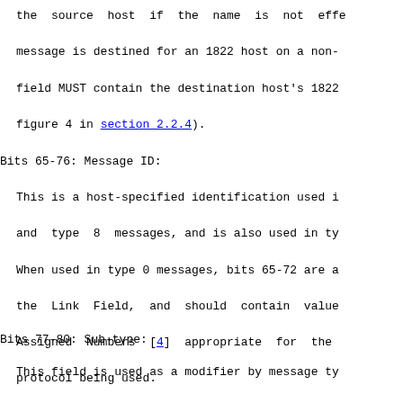the source host if the name is not effe message is destined for an 1822 host on a non- field MUST contain the destination host's 1822 figure 4 in section 2.2.4).
Bits 65-76: Message ID:
This is a host-specified identification used i and type 8 messages, and is also used in ty When used in type 0 messages, bits 65-72 are a the Link Field, and should contain value Assigned Numbers [4] appropriate for the protocol being used.
Bits 77-80: Sub-type:
This field is used as a modifier by message ty and 8.